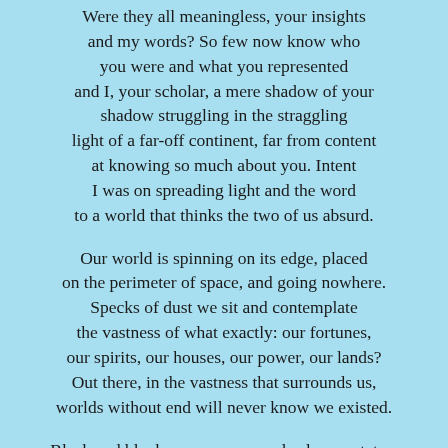Were they all meaningless, your insights and my words? So few now know who you were and what you represented and I, your scholar, a mere shadow of your shadow struggling in the straggling light of a far-off continent, far from content at knowing so much about you. Intent I was on spreading light and the word to a world that thinks the two of us absurd.
Our world is spinning on its edge, placed on the perimeter of space, and going nowhere. Specks of dust we sit and contemplate the vastness of what exactly: our fortunes, our spirits, our houses, our power, our lands? Out there, in the vastness that surrounds us, worlds without end will never know we existed.
Bleak and blank our names, our deeds, our status, the statues they raise in our praise. And what of our thoughts, those sparks of electricity that link us lip to ear and mind to action and each of our actions transformed by a dance